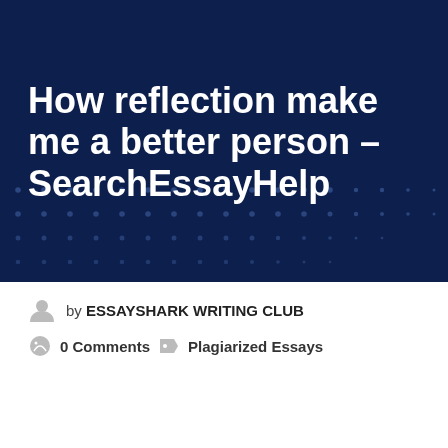[Figure (illustration): Dark navy blue banner with bold white title text and decorative dot grid pattern at the bottom]
How reflection make me a better person – SearchEssayHelp
by ESSAYSHARK WRITING CLUB
0 Comments   Plagiarized Essays